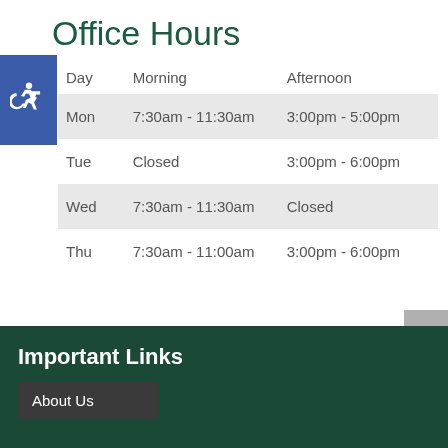Office Hours
| Day | Morning | Afternoon |
| --- | --- | --- |
| Mon | 7:30am - 11:30am | 3:00pm - 5:00pm |
| Tue | Closed | 3:00pm - 6:00pm |
| Wed | 7:30am - 11:30am | Closed |
| Thu | 7:30am - 11:00am | 3:00pm - 6:00pm |
Important Links
About Us